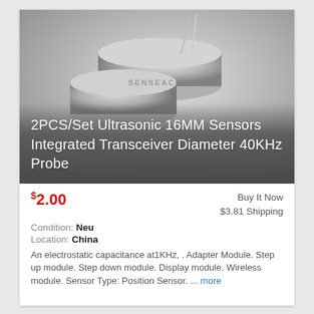[Figure (photo): Two cylindrical silver/metallic ultrasonic sensor components (16mm diameter) with pin leads, branded SENSEMORE, shown on a gradient gray background with product title overlaid in white text.]
2PCS/Set Ultrasonic 16MM Sensors Integrated Transceiver Diameter 40KHz Probe
$2.00
Buy It Now
$3.81 Shipping
Condition: Neu
Location: China
An electrostatic capacitance at1KHz, . Adapter Module. Step up module. Step down module. Display module. Wireless module. Sensor Type: Position Sensor. ... more